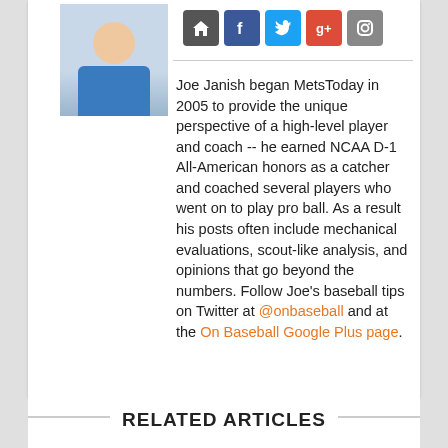[Figure (photo): Photo of Joe Janish, a man smiling, wearing a blue shirt, with an outdoor background]
[Figure (infographic): Row of 5 social media icon buttons: home/website (dark grey), Facebook (blue), Twitter (light blue), Google Plus (red), Instagram (grey)]
Joe Janish began MetsToday in 2005 to provide the unique perspective of a high-level player and coach -- he earned NCAA D-1 All-American honors as a catcher and coached several players who went on to play pro ball. As a result his posts often include mechanical evaluations, scout-like analysis, and opinions that go beyond the numbers. Follow Joe's baseball tips on Twitter at @onbaseball and at the On Baseball Google Plus page.
RELATED ARTICLES